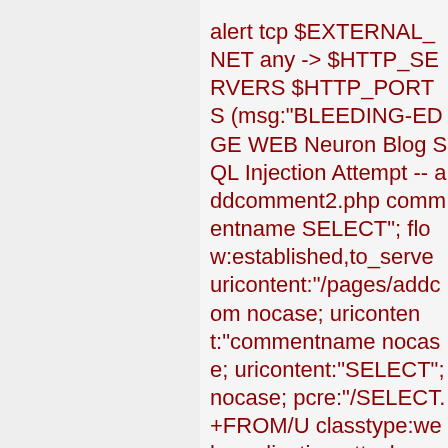alert tcp $EXTERNAL_NET any -> $HTTP_SERVERS $HTTP_PORTS (msg:"BLEEDING-EDGE WEB Neuron Blog SQL Injection Attempt -- addcomment2.php commentname SELECT"; flow:established,to_server; uricontent:"/pages/addcom nocase; uricontent:"commentname nocase; uricontent:"SELECT"; nocase; pcre:"/SELECT.+FROM/U classtype:web-application-attack;